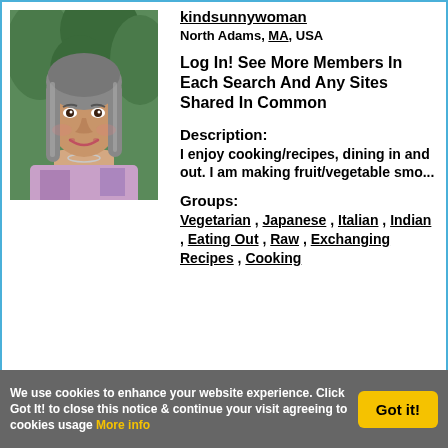[Figure (photo): Profile photo of a middle-aged Asian woman with long gray hair, smiling, wearing a floral top, outdoors with green trees in background]
kindsunnywoman
North Adams, MA, USA
Log In! See More Members In Each Search And Any Sites Shared In Common
Description:
I enjoy cooking/recipes, dining in and out. I am making fruit/vegetable smo...
Groups:
Vegetarian , Japanese , Italian , Indian , Eating Out , Raw , Exchanging Recipes , Cooking
We use cookies to enhance your website experience. Click Got It! to close this notice & continue your visit agreeing to cookies usage More info